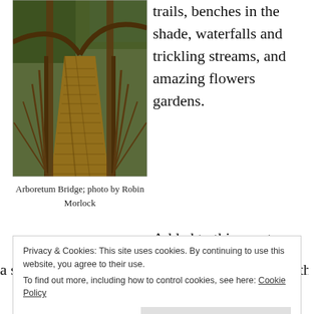[Figure (photo): Photo of a wooden arboretum bridge with metal railings, surrounded by trees casting shadows on the wooden planks.]
Arboretum Bridge; photo by Robin Morlock
trails, benches in the shade, waterfalls and trickling streams, and amazing flowers gardens.
Added to this sanctuary land is
a sacred Cheyenne Medicine Wheel laid out with
Privacy & Cookies: This site uses cookies. By continuing to use this website, you agree to their use.
To find out more, including how to control cookies, see here: Cookie Policy
Close and accept